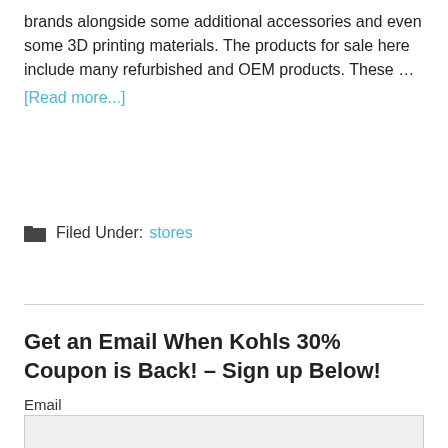brands alongside some additional accessories and even some 3D printing materials. The products for sale here include many refurbished and OEM products. These … [Read more...]
Filed Under: stores
Get an Email When Kohls 30% Coupon is Back! – Sign up Below!
Email